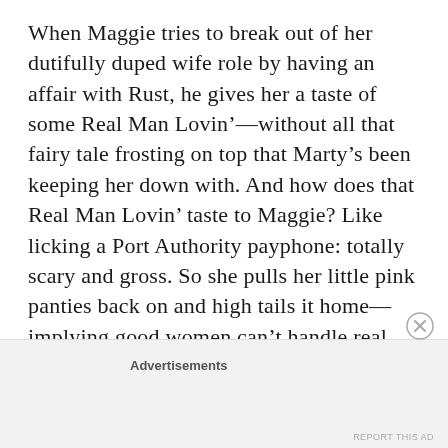When Maggie tries to break out of her dutifully duped wife role by having an affair with Rust, he gives her a taste of some Real Man Lovin’—without all that fairy tale frosting on top that Marty’s been keeping her down with. And how does that Real Man Lovin’ taste to Maggie? Like licking a Port Authority payphone: totally scary and gross. So she pulls her little pink panties back on and high tails it home—implying good women can’t handle real male sexuality: it’s too gross. Eeeeeew! Which reminds
Advertisements